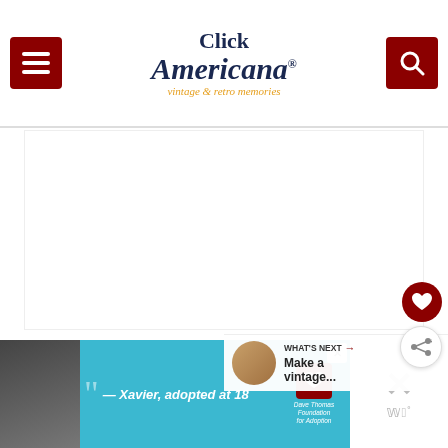Click Americana - vintage & retro memories
[Figure (other): Large white blank content area in the middle of the page]
[Figure (other): Heart (favorite) floating action button, dark red circle]
[Figure (other): Share floating action button, white circle with share icon]
[Figure (other): What's Next section with thumbnail and text 'Make a vintage...']
[Figure (other): Advertisement banner: Xavier adopted at 18 - Dave Thomas Foundation for Adoption]